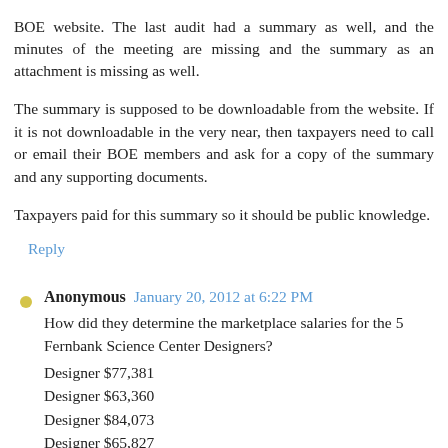BOE website. The last audit had a summary as well, and the minutes of the meeting are missing and the summary as an attachment is missing as well.
The summary is supposed to be downloadable from the website. If it is not downloadable in the very near, then taxpayers need to call or email their BOE members and ask for a copy of the summary and any supporting documents.
Taxpayers paid for this summary so it should be public knowledge.
Reply
Anonymous  January 20, 2012 at 6:22 PM
How did they determine the marketplace salaries for the 5 Fernbank Science Center Designers?
Designer $77,381
Designer $63,360
Designer $84,073
Designer $65,827
Designer $69,178